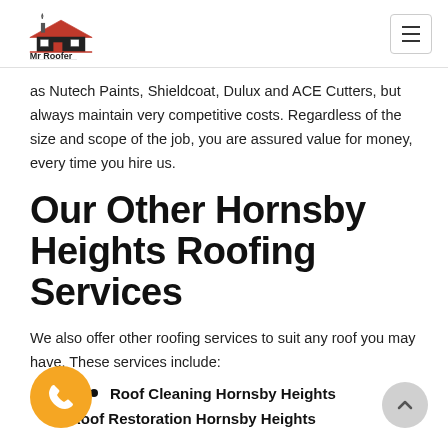Mr Roofer
as Nutech Paints, Shieldcoat, Dulux and ACE Cutters, but always maintain very competitive costs. Regardless of the size and scope of the job, you are assured value for money, every time you hire us.
Our Other Hornsby Heights Roofing Services
We also offer other roofing services to suit any roof you may have. These services include:
Roof Cleaning Hornsby Heights
Roof Restoration Hornsby Heights